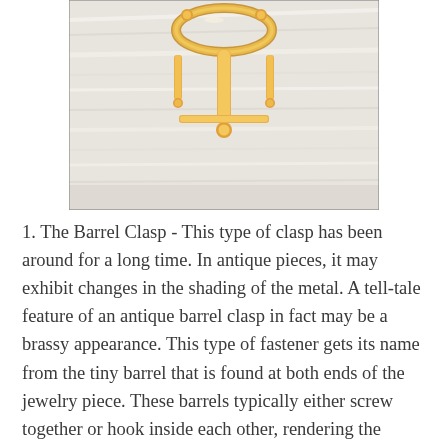[Figure (photo): Close-up photo of gold chandelier earrings with dangling bar and bead details, placed on a white wood surface background.]
1. The Barrel Clasp - This type of clasp has been around for a long time. In antique pieces, it may exhibit changes in the shading of the metal. A tell-tale feature of an antique barrel clasp in fact may be a brassy appearance. This type of fastener gets its name from the tiny barrel that is found at both ends of the jewelry piece. These barrels typically either screw together or hook inside each other, rendering the antique necklace or bracelet